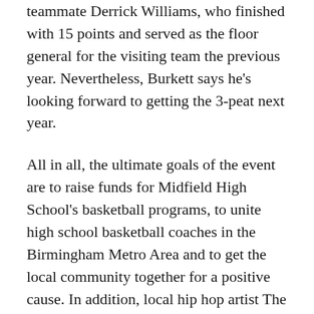teammate Derrick Williams, who finished with 15 points and served as the floor general for the visiting team the previous year. Nevertheless, Burkett says he's looking forward to getting the 3-peat next year.
All in all, the ultimate goals of the event are to raise funds for Midfield High School's basketball programs, to unite high school basketball coaches in the Birmingham Metro Area and to get the local community together for a positive cause. In addition, local hip hop artist The Governor stopped by to perform his single “Focused” and 95.7 Jamz’s DJ Dirty Vegas made an appearance as well.
Although Coach Barber's home team has yet to